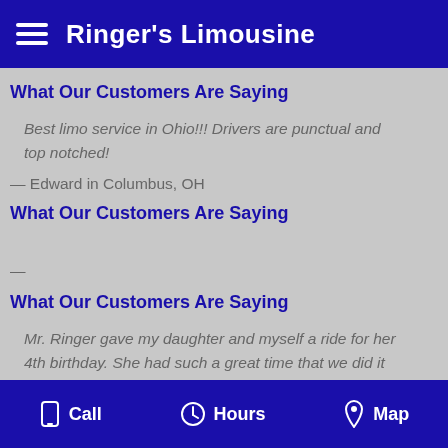Ringer's Limousine
What Our Customers Are Saying
Best limo service in Ohio!!! Drivers are punctual and top notched!
— Edward in Columbus, OH
What Our Customers Are Saying
—
What Our Customers Are Saying
Mr. Ringer gave my daughter and myself a ride for her 4th birthday. She had such a great time that we did it
Call   Hours   Map